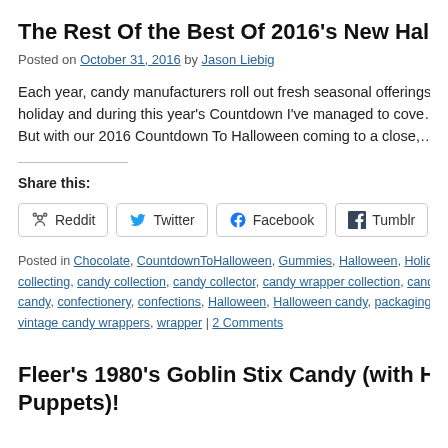The Rest Of the Best Of 2016's New Hallo...
Posted on October 31, 2016 by Jason Liebig
Each year, candy manufacturers roll out fresh seasonal offerings... holiday and during this year's Countdown I've managed to cove... But with our 2016 Countdown To Halloween coming to a close,...
Share this:
Reddit  Twitter  Facebook  Tumblr  Pinterest
Posted in Chocolate, CountdownToHalloween, Gummies, Halloween, Holida... collecting, candy collection, candy collector, candy wrapper collection, candy... candy, confectionery, confections, Halloween, Halloween candy, packaging, p... vintage candy wrappers, wrapper | 2 Comments
Fleer's 1980's Goblin Stix Candy (with Ha... Puppets)!